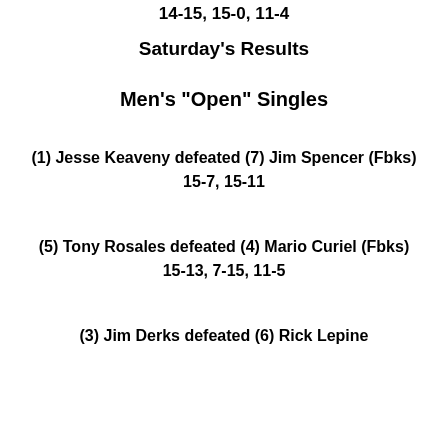14-15, 15-0, 11-4
Saturday's Results
Men's "Open" Singles
(1) Jesse Keaveny defeated (7) Jim Spencer (Fbks)
15-7, 15-11
(5) Tony Rosales defeated (4) Mario Curiel (Fbks)
15-13, 7-15, 11-5
(3) Jim Derks defeated (6) Rick Lepine